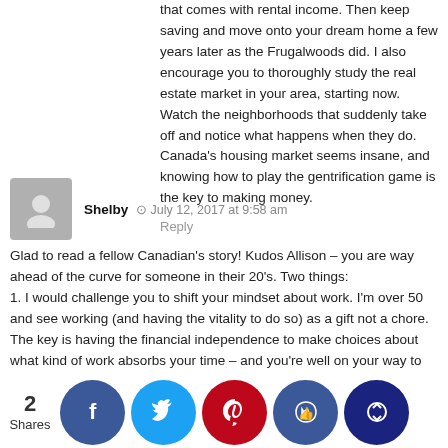that comes with rental income. Then keep saving and move onto your dream home a few years later as the Frugalwoods did. I also encourage you to thoroughly study the real estate market in your area, starting now. Watch the neighborhoods that suddenly take off and notice what happens when they do. Canada's housing market seems insane, and knowing how to play the gentrification game is the key to making money.
Reply
Shelby · July 12, 2017 at 9:58 am
Glad to read a fellow Canadian's story! Kudos Allison – you are way ahead of the curve for someone in their 20's. Two things:
1. I would challenge you to shift your mindset about work. I'm over 50 and see working (and having the vitality to do so) as a gift not a chore. The key is having the financial independence to make choices about what kind of work absorbs your time – and you're well on your way to making that happen.
2. Leverage your youth!! You already have a mandatory work pension (and eventually CPP and OAS) so focus on building wealth through your TFSA (but invest independently) and have one plan for the long haul) – for your life a…
2 Shares